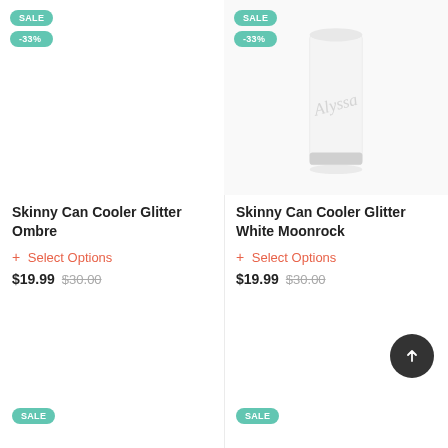[Figure (photo): Product image area for Skinny Can Cooler Glitter Ombre (blank/empty)]
SALE
-33%
Skinny Can Cooler Glitter Ombre
+ Select Options
$19.99 $30.00
[Figure (photo): Skinny Can Cooler Glitter White Moonrock product photo — white cylindrical can cooler with script name 'Alyssa' engraved]
SALE
-33%
Skinny Can Cooler Glitter White Moonrock
+ Select Options
$19.99 $30.00
SALE
SALE